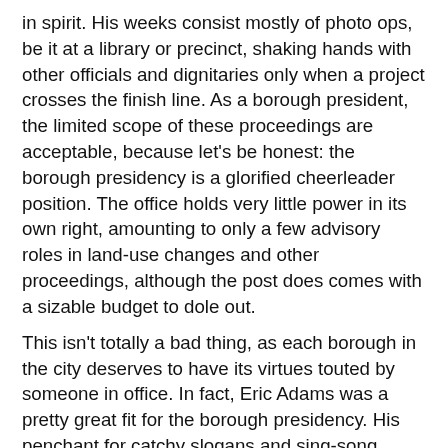in spirit. His weeks consist mostly of photo ops, be it at a library or precinct, shaking hands with other officials and dignitaries only when a project crosses the finish line. As a borough president, the limited scope of these proceedings are acceptable, because let's be honest: the borough presidency is a glorified cheerleader position. The office holds very little power in its own right, amounting to only a few advisory roles in land-use changes and other proceedings, although the post does comes with a sizable budget to dole out.
This isn't totally a bad thing, as each borough in the city deserves to have its virtues touted by someone in office. In fact, Eric Adams was a pretty great fit for the borough presidency. His penchant for catchy slogans and sing-song vocal delivery has brought life and spirit to otherwise drab ribbon-cutting proceedings.
However, the borough presidency is not the same as the mayorship, an office that affords much more real power to its occupant. The constant pats on the back and